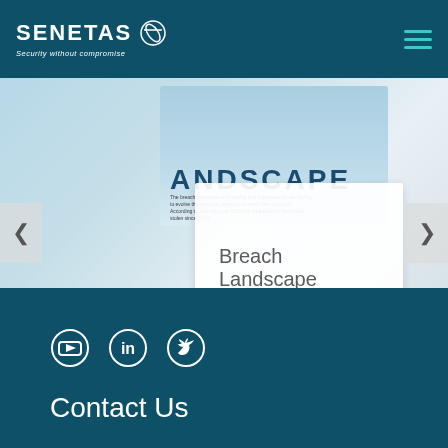SENETAS - Security without compromise
[Figure (screenshot): Carousel slide showing a partially visible document titled 'LANDSCAPE' with text about breach landscape, overlaid by a white card with the text 'Breach Landscape'. Left and right navigation arrows are visible.]
Breach Landscape
Social media icons: YouTube, LinkedIn, Twitter. Contact Us